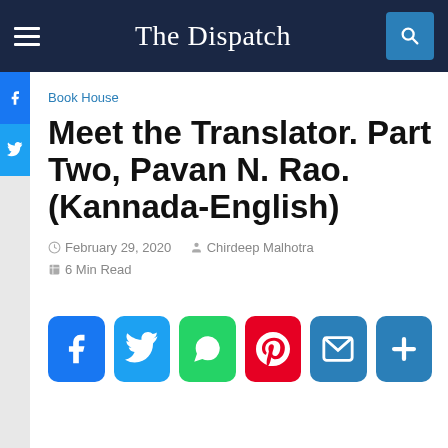The Dispatch
Book House
Meet the Translator. Part Two, Pavan N. Rao. (Kannada-English)
February 29, 2020   Chirdeep Malhotra   6 Min Read
[Figure (other): Social share buttons: Facebook, Twitter, WhatsApp, Pinterest, Email, More]